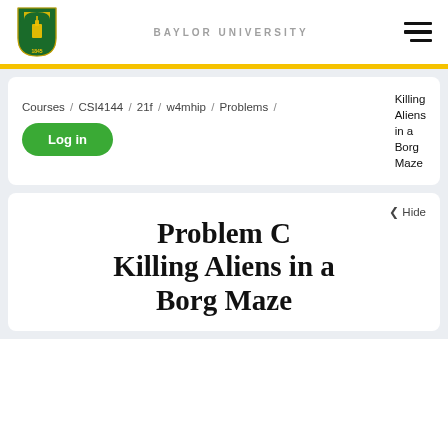[Figure (logo): Baylor University shield logo with building and '1845' text]
BAYLOR UNIVERSITY
Courses / CSI4144 / 21f / w4mhip / Problems / Killing Aliens in a Borg Maze
Log in
‹ Hide
Problem C Killing Aliens in a Borg Maze